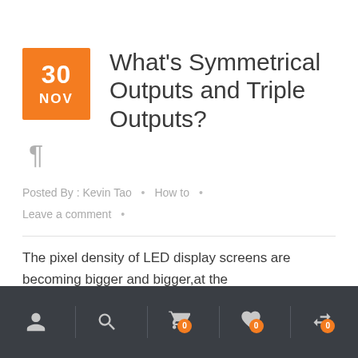What's Symmetrical Outputs and Triple Outputs?
Posted By : Kevin Tao  •  How to  •  Leave a comment  •
The pixel density of LED display screens are becoming bigger and bigger,at the
Navigation bar with user, search, cart (0), wishlist (0), compare (0) icons